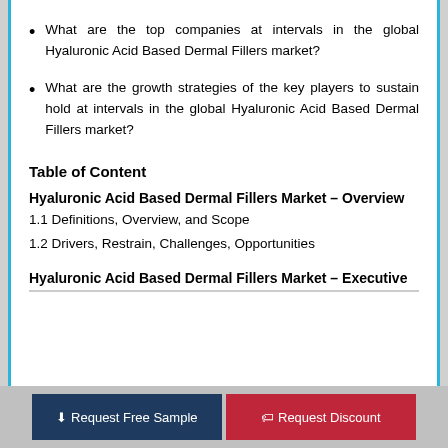What are the top companies at intervals in the global Hyaluronic Acid Based Dermal Fillers market?
What are the growth strategies of the key players to sustain hold at intervals in the global Hyaluronic Acid Based Dermal Fillers market?
Table of Content
Hyaluronic Acid Based Dermal Fillers Market – Overview
1.1 Definitions, Overview, and Scope
1.2 Drivers, Restrain, Challenges, Opportunities
Hyaluronic Acid Based Dermal Fillers Market – Executive